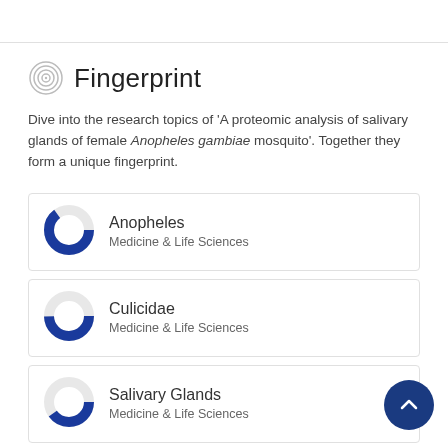Fingerprint
Dive into the research topics of 'A proteomic analysis of salivary glands of female Anopheles gambiae mosquito'. Together they form a unique fingerprint.
Anopheles — Medicine & Life Sciences
Culicidae — Medicine & Life Sciences
Salivary Glands — Medicine & Life Sciences
Proteomics — Medicine & Life Sciences